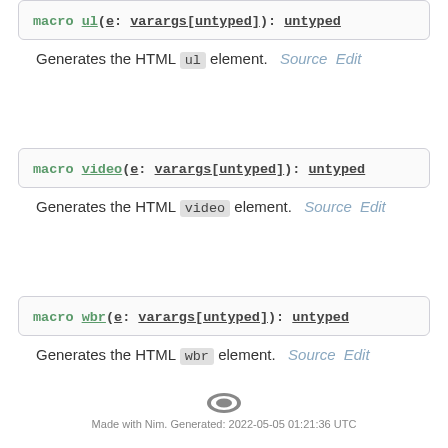macro ul(e: varargs[untyped]): untyped
Generates the HTML ul element. Source Edit
macro video(e: varargs[untyped]): untyped
Generates the HTML video element. Source Edit
macro wbr(e: varargs[untyped]): untyped
Generates the HTML wbr element. Source Edit
Made with Nim. Generated: 2022-05-05 01:21:36 UTC